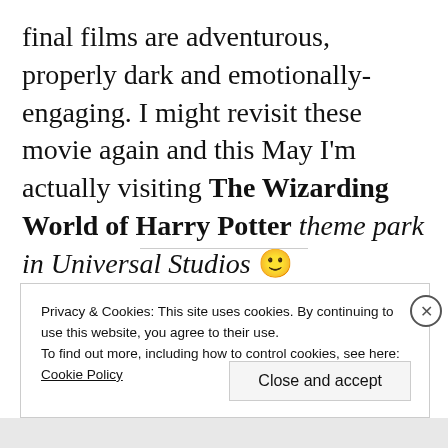final films are adventurous, properly dark and emotionally-engaging. I might revisit these movie again and this May I'm actually visiting The Wizarding World of Harry Potter theme park in Universal Studios 🙂
Privacy & Cookies: This site uses cookies. By continuing to use this website, you agree to their use.
To find out more, including how to control cookies, see here: Cookie Policy
Close and accept